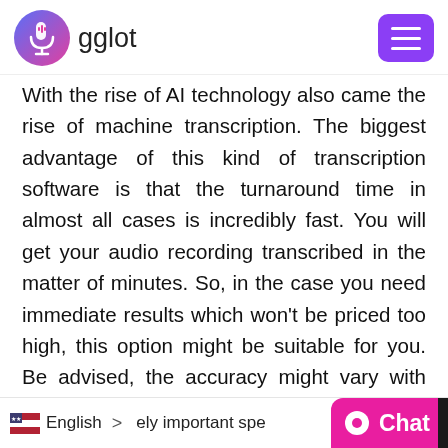[Figure (logo): Gglot logo with microphone and waveform icon in blue/pink gradient, with text 'gglot']
With the rise of AI technology also came the rise of machine transcription. The biggest advantage of this kind of transcription software is that the turnaround time in almost all cases is incredibly fast. You will get your audio recording transcribed in the matter of minutes. So, in the case you need immediate results which won't be priced too high, this option might be suitable for you. Be advised, the accuracy might vary with this option, it won't be a good as it is when a professional human transcriber does the job, but you can still count on about 80% accuracy. T
c  English  >  ely important spe